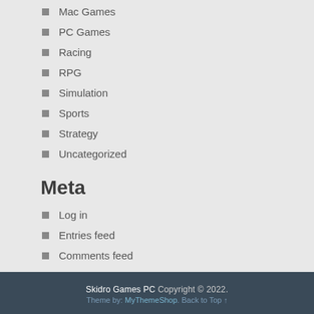Mac Games
PC Games
Racing
RPG
Simulation
Sports
Strategy
Uncategorized
Meta
Log in
Entries feed
Comments feed
WordPress.org
Skidro Games PC Copyright © 2022. Theme by: MyThemeShop. Back to Top ↑